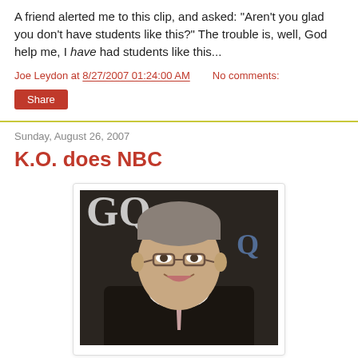A friend alerted me to this clip, and asked: "Aren't you glad you don't have students like this?" The trouble is, well, God help me, I have had students like this...
Joe Leydon at 8/27/2007 01:24:00 AM    No comments:
Share
Sunday, August 26, 2007
K.O. does NBC
[Figure (photo): Photo of a middle-aged man with glasses, gray hair, wearing a dark suit and tie, smiling. GQ logo visible in background.]